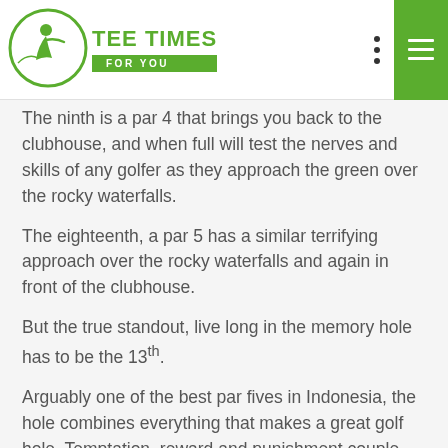TEE TIMES FOR YOU
The ninth is a par 4 that brings you back to the clubhouse, and when full will test the nerves and skills of any golfer as they approach the green over the rocky waterfalls.
The eighteenth, a par 5 has a similar terrifying approach over the rocky waterfalls and again in front of the clubhouse.
But the true standout, live long in the memory hole has to be the 13th.
Arguably one of the best par fives in Indonesia, the hole combines everything that makes a great golf hole. Temptation, reward and punishment couple with the beauty of the